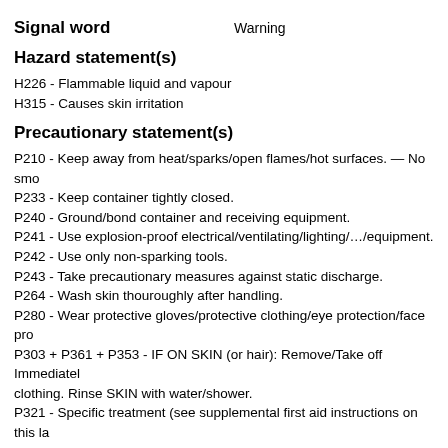Signal word    Warning
Hazard statement(s)
H226 - Flammable liquid and vapour
H315 - Causes skin irritation
Precautionary statement(s)
P210 - Keep away from heat/sparks/open flames/hot surfaces. — No smo...
P233 - Keep container tightly closed.
P240 - Ground/bond container and receiving equipment.
P241 - Use explosion-proof electrical/ventilating/lighting/.../equipment.
P242 - Use only non-sparking tools.
P243 - Take precautionary measures against static discharge.
P264 - Wash skin thouroughly after handling.
P280 - Wear protective gloves/protective clothing/eye protection/face pro...
P303 + P361 + P353 - IF ON SKIN (or hair): Remove/Take off Immediately contaminated clothing. Rinse SKIN with water/shower.
P321 - Specific treatment (see supplemental first aid instructions on this la...
P332 + P313 - IF SKIN irritation occurs: Get medical advice/attention.
P362 - Take off contaminated clothing and wash before reuse.
P370 + P378 - In case of fire: Use dry sand, dry chemical or alcohol-resis... extinction.
P403 + P235 - Store in a well-ventilated place. Keep cool.
P501 - Dispose of contents/ container to an approved waste disposal pla...
Oral/Parenteral Toxicity: